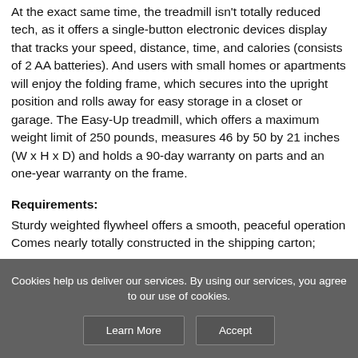At the exact same time, the treadmill isn't totally reduced tech, as it offers a single-button electronic devices display that tracks your speed, distance, time, and calories (consists of 2 AA batteries). And users with small homes or apartments will enjoy the folding frame, which secures into the upright position and rolls away for easy storage in a closet or garage. The Easy-Up treadmill, which offers a maximum weight limit of 250 pounds, measures 46 by 50 by 21 inches (W x H x D) and holds a 90-day warranty on parts and an one-year warranty on the frame.
Requirements:
Sturdy weighted flywheel offers a smooth, peaceful operation
Comes nearly totally constructed in the shipping carton;
Cookies help us deliver our services. By using our services, you agree to our use of cookies.